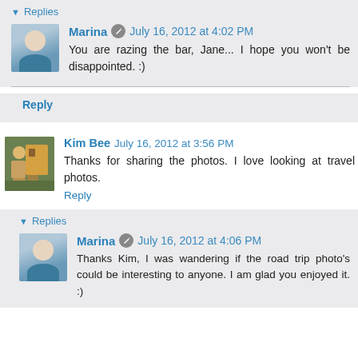▾ Replies
Marina  July 16, 2012 at 4:02 PM
You are razing the bar, Jane... I hope you won't be disappointed. :)
Reply
Kim Bee  July 16, 2012 at 3:56 PM
Thanks for sharing the photos. I love looking at travel photos.
Reply
▾ Replies
Marina  July 16, 2012 at 4:06 PM
Thanks Kim, I was wandering if the road trip photo's could be interesting to anyone. I am glad you enjoyed it. :)